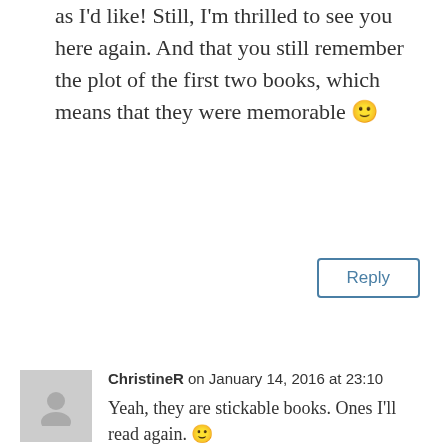as I'd like! Still, I'm thrilled to see you here again. And that you still remember the plot of the first two books, which means that they were memorable 🙂
Reply
ChristineR on January 14, 2016 at 23:10
Yeah, they are stickable books. Ones I'll read again. 🙂
Reply
Effrosyni Moschoudi on January 12, 2016 at 18:32
Do whatever your instinct tells you,